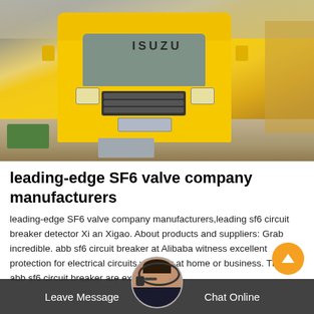[Figure (photo): A yellow Isuzu truck parked at a construction site or industrial yard. The truck is viewed from the front at a slight angle. Various construction materials and equipment are visible in the background.]
leading-edge SF6 valve company manufacturers
leading-edge SF6 valve company manufacturers,leading sf6 circuit breaker detector Xi an Xigao. About products and suppliers: Grab incredible. abb sf6 circuit breaker at Alibaba witness excellent protection for electrical circuits whether at home or business. These. abb sf6 circuit breaker are exceptionally
Leave Message   Chat Online